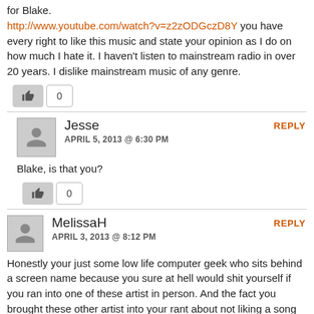for Blake. http://www.youtube.com/watch?v=z2zODGczD8Y you have every right to like this music and state your opinion as I do on how much I hate it. I haven't listen to mainstream radio in over 20 years. I dislike mainstream music of any genre.
Jesse APRIL 5, 2013 @ 6:30 PM
Blake, is that you?
MelissaH APRIL 3, 2013 @ 8:12 PM
Honestly your just some low life computer geek who sits behind a screen name because you sure at hell would shit yourself if you ran into one of these artist in person. And the fact you brought these other artist into your rant about not liking a song that they had nothing to do with is what really pisses me off. So stop being an ass and shut the hell up!!!